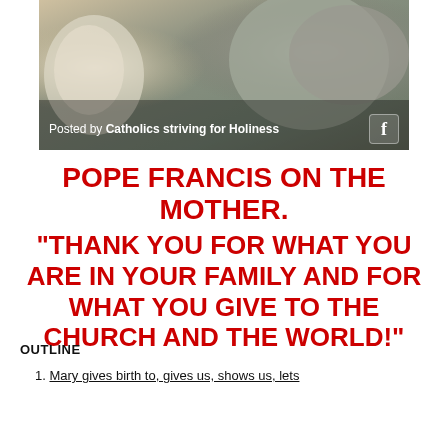[Figure (photo): Photo of people outdoors wearing winter jackets, with overlay text 'Posted by Catholics striving for Holiness' and a Facebook icon]
POPE FRANCIS ON THE MOTHER.
“THANK YOU FOR WHAT YOU ARE IN YOUR FAMILY AND FOR WHAT YOU GIVE TO THE CHURCH AND THE WORLD!”
OUTLINE
1. Mary gives birth to, gives us, shows us, lets